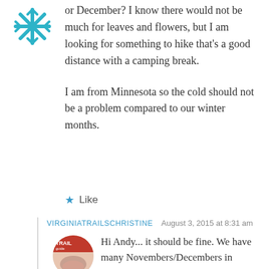[Figure (illustration): Teal/blue snowflake or flower avatar icon]
or December? I know there would not be much for leaves and flowers, but I am looking for something to hike that's a good distance with a camping break.

I am from Minnesota so the cold should not be a problem compared to our winter months.
★ Like
VIRGINIATRAILSCHRISTINE   August 3, 2015 at 8:31 am
[Figure (logo): Trail guide logo avatar - circular image with trail/map branding]
Hi Andy... it should be fine. We have many Novembers/Decembers in Virginia that are snow-free. It shouldn't